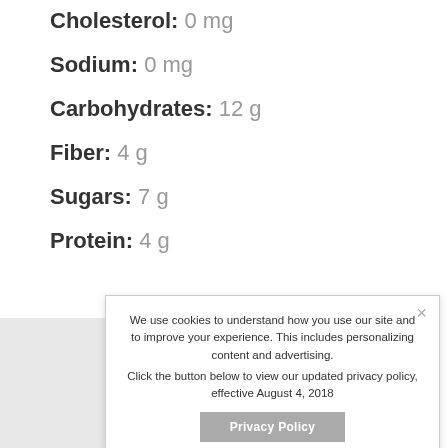Cholesterol: 0 mg
Sodium: 0 mg
Carbohydrates: 12 g
Fiber: 4 g
Sugars: 7 g
Protein: 4 g
We use cookies to understand how you use our site and to improve your experience. This includes personalizing content and advertising.
Click the button below to view our updated privacy policy, effective August 4, 2018
Privacy Policy